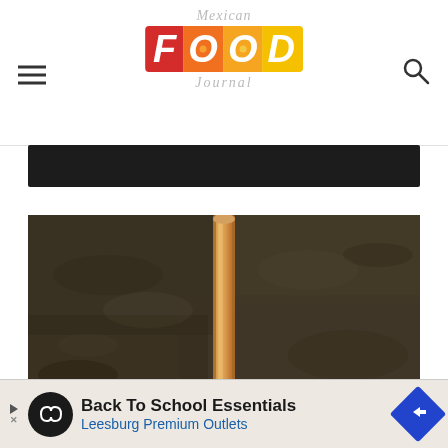Mexican Food Journal
[Figure (photo): Dark stone or concrete background with a cinnamon stick standing vertically in the center]
[Figure (screenshot): Advertisement banner: Back To School Essentials - Leesburg Premium Outlets]